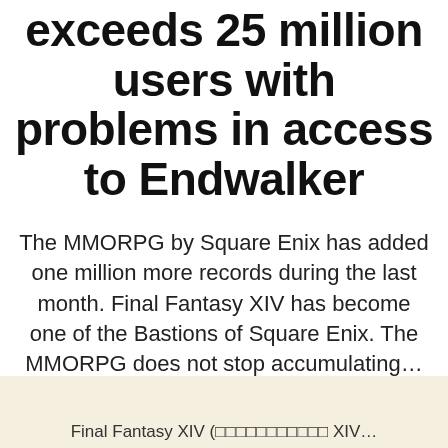exceeds 25 million users with problems in access to Endwalker
The MMORPG by Square Enix has added one million more records during the last month. Final Fantasy XIV has become one of the Bastions of Square Enix. The MMORPG does not stop accumulating...
By TigerTie   December 9, 2021
No Comments
Final Fantasy XIV (□□□□□□□□□□□ XIV...